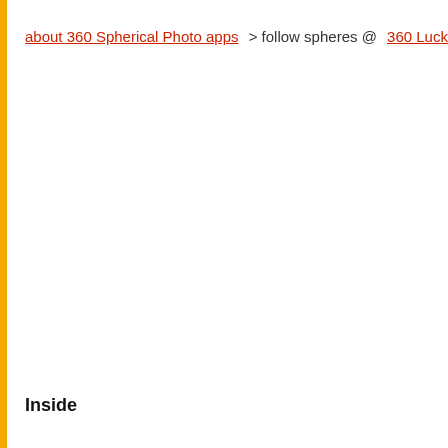about 360 Spherical Photo apps > follow spheres @ 360 Luckyroo
Inside